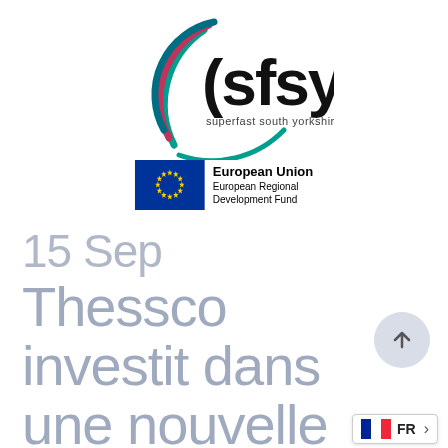[Figure (logo): SFSY (Superfast South Yorkshire) logo with coloured arc lines in teal, pink/red and dark blue/teal around the text 'sfsy superfast south yorkshire']
[Figure (logo): European Union European Regional Development Fund logo with EU flag (blue with yellow stars) and text 'European Union European Regional Development Fund']
15 Sep
Thessco investit dans une nouvelle infrastructure